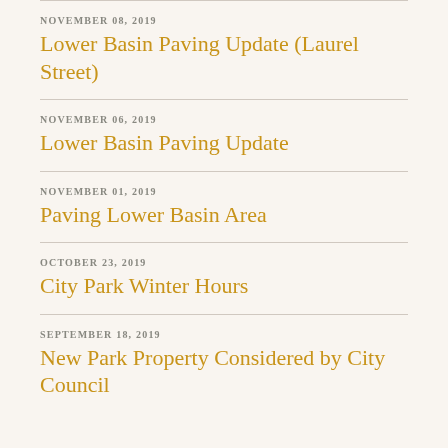NOVEMBER 08, 2019 — Lower Basin Paving Update (Laurel Street)
NOVEMBER 06, 2019 — Lower Basin Paving Update
NOVEMBER 01, 2019 — Paving Lower Basin Area
OCTOBER 23, 2019 — City Park Winter Hours
SEPTEMBER 18, 2019 — New Park Property Considered by City Council